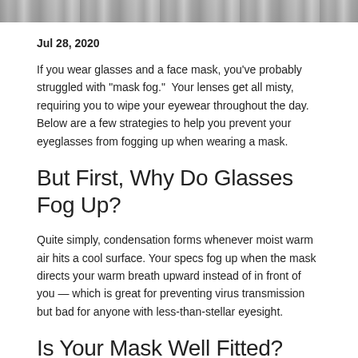[Figure (photo): Top portion of a photo showing a person wearing a plaid/checkered shirt or mask, cropped at top of page]
Jul 28, 2020
If you wear glasses and a face mask, you've probably struggled with “mask fog.”  Your lenses get all misty, requiring you to wipe your eyewear throughout the day. Below are a few strategies to help you prevent your eyeglasses from fogging up when wearing a mask.
But First, Why Do Glasses Fog Up?
Quite simply, condensation forms whenever moist warm air hits a cool surface. Your specs fog up when the mask directs your warm breath upward instead of in front of you — which is great for preventing virus transmission but bad for anyone with less-than-stellar eyesight.
Is Your Mask Well Fitted?